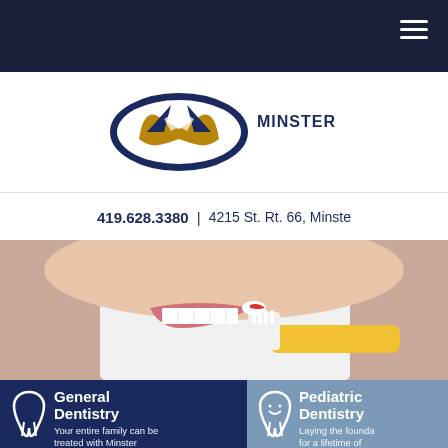[Figure (screenshot): Dark navy navigation bar at top of dental practice website with hamburger menu icon in upper right corner]
[Figure (logo): Minster Dental logo: oval shape with blue and brown/gold tooth-like design, next to text MINSTER D (partially visible)]
419.628.3380 | 4215 St. Rt. 66, Minste
[Figure (photo): Close-up photo of person smiling and holding a toothbrush with toothpaste near mouth]
[Figure (infographic): General Dentistry service block on dark navy background with white tooth icon and text: General Dentistry - Your entire family can be treated with Minster]
[Figure (infographic): Pediatric Dentistry service block on light blue background with white smiling tooth icon and text: Pediatric Dentistry - Laying the founda for a lifetime of]